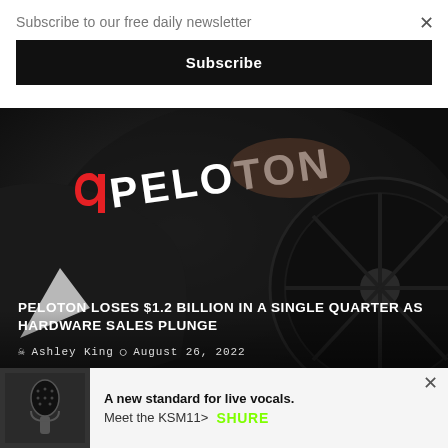Subscribe to our free daily newsletter
Subscribe
[Figure (photo): Close-up photo of a Peloton exercise bike with the Peloton logo (red logo mark and white PELOTON text) visible on dark equipment.]
PELOTON LOSES $1.2 BILLION IN A SINGLE QUARTER AS HARDWARE SALES PLUNGE
Ashley King  August 26, 2022
[Figure (photo): Advertisement showing a microphone (KSM11) with text: A new standard for live vocals. Meet the KSM11> SHURE]